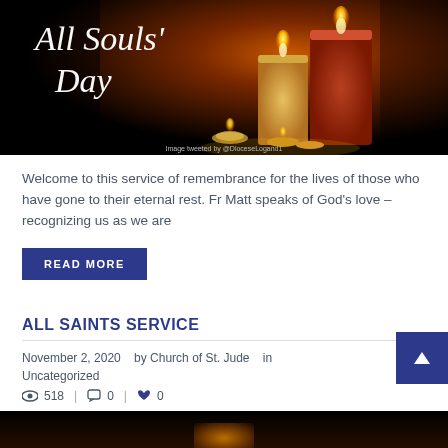[Figure (photo): All Souls' Day candles image with italic white text 'All Souls' Day' on dark background with lit candles and image credit]
Welcome to this service of remembrance for the lives of those who have gone to their eternal rest. Fr Matt speaks of God’s love – recognizing us as we are
READ MORE
ALL SAINTS SERVICE
November 2, 2020   by Church of St. Jude   in Uncategorized
518  |  0  |  0
[Figure (photo): Dark bottom image with candle glow, partial view of candle scene]